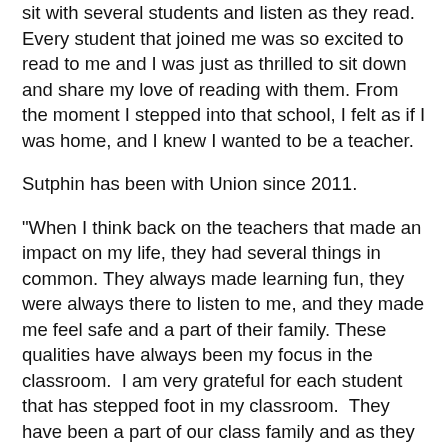sit with several students and listen as they read. Every student that joined me was so excited to read to me and I was just as thrilled to sit down and share my love of reading with them. From the moment I stepped into that school, I felt as if I was home, and I knew I wanted to be a teacher.
Sutphin has been with Union since 2011.
"When I think back on the teachers that made an impact on my life, they had several things in common. They always made learning fun, they were always there to listen to me, and they made me feel safe and a part of their family. These qualities have always been my focus in the classroom.  I am very grateful for each student that has stepped foot in my classroom.  They have been a part of our class family and as they move up each grade, they continue to stay a part of our class family."
Sutphin received a bachelor's degree in early childhood education from Augusta University in 2004. "When I moved to Oklahoma, I became certified in both early childhood education and elementary education." Sutphin